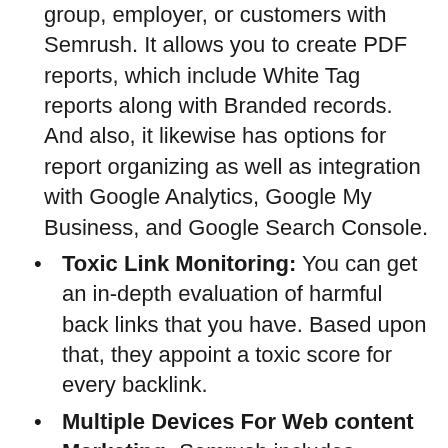group, employer, or customers with Semrush. It allows you to create PDF reports, which include White Tag reports along with Branded records. And also, it likewise has options for report organizing as well as integration with Google Analytics, Google My Business, and Google Search Console.
Toxic Link Monitoring: You can get an in-depth evaluation of harmful back links that you have. Based upon that, they appoint a toxic score for every backlink.
Multiple Devices For Web content Marketing: Semrush includes content advertising and marketing devices like Brand Monitoring, SEO Creating Aide, Search Engine Optimization Material